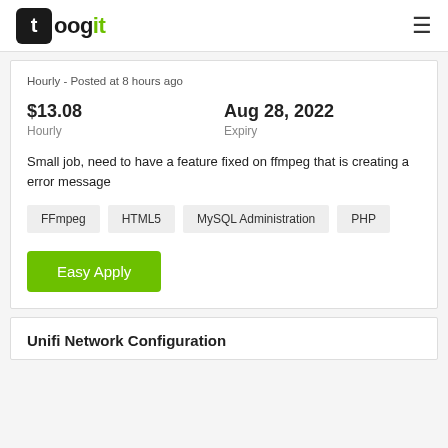toogit
Hourly - Posted at 8 hours ago
$13.08
Hourly

Aug 28, 2022
Expiry
Small job, need to have a feature fixed on ffmpeg that is creating a error message
FFmpeg
HTML5
MySQL Administration
PHP
Easy Apply
Unifi Network Configuration